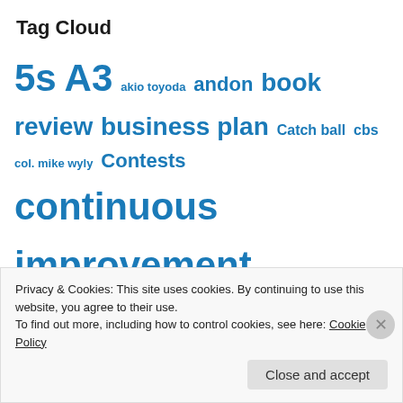Tag Cloud
[Figure (infographic): Tag cloud with words of varying sizes in blue, including: 5s, A3, akio toyoda, andon, book review, business plan, Catch ball, cbs, col. mike wyly, Contests, continuous improvement, cost reduction, deadly disease #3, Deming, deming #1, deming #2, deming #5, deming #6, deming #7, deming #8, deming #11, deming #12, deming #13, deming #14, employee involvement, engagement, error proof, flow, fujio cho, gemba, genchi gembutsu, goal means flowdown]
Privacy & Cookies: This site uses cookies. By continuing to use this website, you agree to their use.
To find out more, including how to control cookies, see here: Cookie Policy